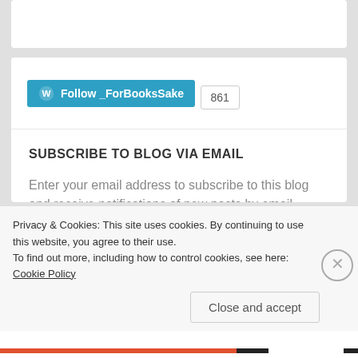[Figure (screenshot): WordPress Follow button for _ForBooksSake with follower count 861]
SUBSCRIBE TO BLOG VIA EMAIL
Enter your email address to subscribe to this blog and receive notifications of new posts by email.
[Figure (screenshot): Email Address input field]
[Figure (screenshot): Subscribe button]
Privacy & Cookies: This site uses cookies. By continuing to use this website, you agree to their use.
To find out more, including how to control cookies, see here: Cookie Policy
[Figure (screenshot): Close and accept button]